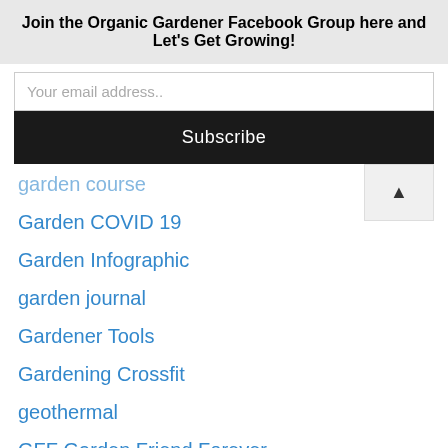Join the Organic Gardener Facebook Group here and Let's Get Growing!
Your email address..
Subscribe
garden course
Garden COVID 19
Garden Infographic
garden journal
Gardener Tools
Gardening Crossfit
geothermal
GFF Garden Friend Forever
gluten free
glyphosate
GMO